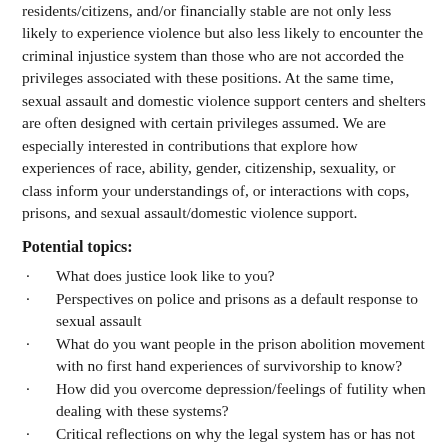residents/citizens, and/or financially stable are not only less likely to experience violence but also less likely to encounter the criminal injustice system than those who are not accorded the privileges associated with these positions. At the same time, sexual assault and domestic violence support centers and shelters are often designed with certain privileges assumed. We are especially interested in contributions that explore how experiences of race, ability, gender, citizenship, sexuality, or class inform your understandings of, or interactions with cops, prisons, and sexual assault/domestic violence support.
Potential topics:
What does justice look like to you?
Perspectives on police and prisons as a default response to sexual assault
What do you want people in the prison abolition movement with no first hand experiences of survivorship to know?
How did you overcome depression/feelings of futility when dealing with these systems?
Critical reflections on why the legal system has or has not felt like an option for you